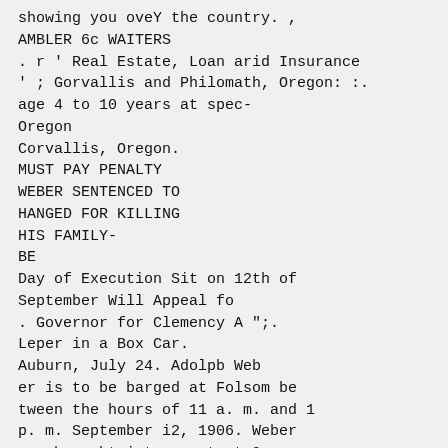showing you oveY the country. ,
AMBLER 6c WAITERS
. r ' Real Estate, Loan arid Insurance
' ; Gorvallis and Philomath, Oregon: :.
age 4 to 10 years at spec-
Oregon
Corvallis, Oregon.
MUST PAY PENALTY
WEBER SENTENCED TO
HANGED FOR KILLING
HIS FAMILY-
BE
Day of Execution Sit on 12th of
September Will Appeal fo
. Governor for Clemency A ";.
Leper in a Box Car.
Auburn, July 24. Adolpb Web
er is to be barged at Folsom be
tween the hours of 11 a. m. and 1
p. m. September i2, 1906. Weber
was brought into court at 9 a. m.
today and the time foreentence was
fixed at 11 o'clock. At that hour
the courtroom was packed. Weber